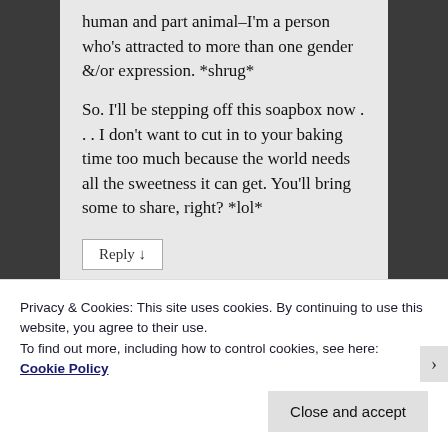human and part animal–I'm a person who's attracted to more than one gender &/or expression. *shrug*

So. I'll be stepping off this soapbox now . . . I don't want to cut in to your baking time too much because the world needs all the sweetness it can get. You'll bring some to share, right? *lol*
Reply ↓
Privacy & Cookies: This site uses cookies. By continuing to use this website, you agree to their use.
To find out more, including how to control cookies, see here:
Cookie Policy
Close and accept